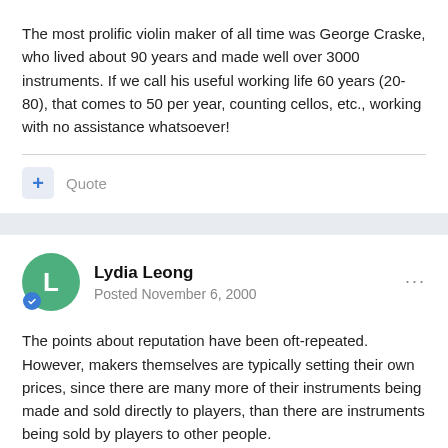The most prolific violin maker of all time was George Craske, who lived about 90 years and made well over 3000 instruments. If we call his useful working life 60 years (20-80), that comes to 50 per year, counting cellos, etc., working with no assistance whatsoever!
Quote
Lydia Leong
Posted November 6, 2000
The points about reputation have been oft-repeated.
However, makers themselves are typically setting their own prices, since there are many more of their instruments being made and sold directly to players, than there are instruments being sold by players to other people.
Though the instruments of makers who are beginning are the best...